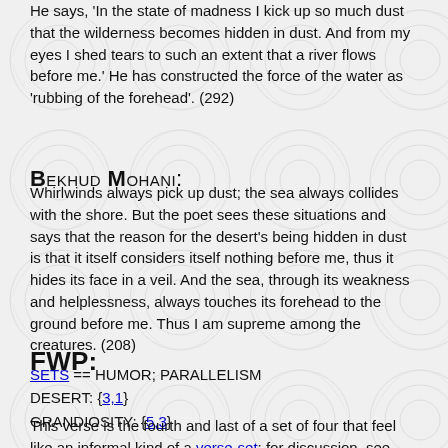He says, 'In the state of madness I kick up so much dust that the wilderness becomes hidden in dust. And from my eyes I shed tears to such an extent that a river flows before me.' He has constructed the force of the water as 'rubbing of the forehead'. (292)
Bekhud Mohani:
Whirlwinds always pick up dust; the sea always collides with the shore. But the poet sees these situations and says that the reason for the desert's being hidden in dust is that it itself considers itself nothing before me, thus it hides its face in a veil. And the sea, through its weakness and helplessness, always touches its forehead to the ground before me. Thus I am supreme among the creatures. (208)
FWP:
SETS == HUMOR; PARALLELISM
DESERT: {3,1}
GRANDIOSITY: {5,3}
This verse is the fourth and last of a set of four that feel like an informal kind of a verse-set; for discussion, see